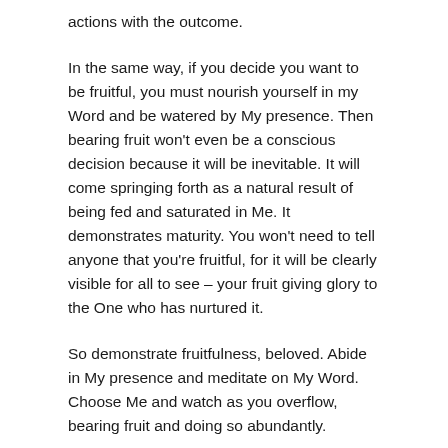actions with the outcome.
In the same way, if you decide you want to be fruitful, you must nourish yourself in my Word and be watered by My presence. Then bearing fruit won't even be a conscious decision because it will be inevitable. It will come springing forth as a natural result of being fed and saturated in Me. It demonstrates maturity. You won't need to tell anyone that you're fruitful, for it will be clearly visible for all to see – your fruit giving glory to the One who has nurtured it.
So demonstrate fruitfulness, beloved. Abide in My presence and meditate on My Word. Choose Me and watch as you overflow, bearing fruit and doing so abundantly.